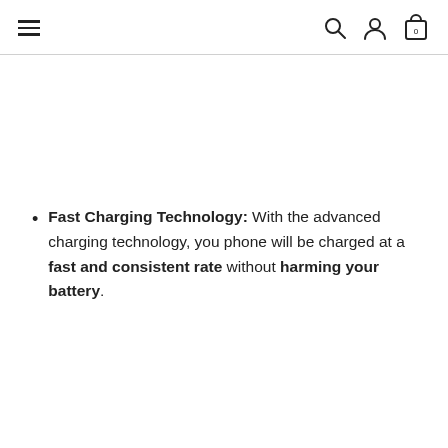Navigation bar with hamburger menu, search, account, and cart icons
Fast Charging Technology: With the advanced charging technology, you phone will be charged at a fast and consistent rate without harming your battery.